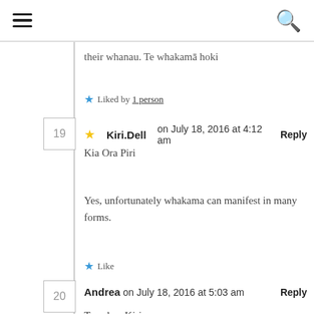≡  [search icon]
their whanau. Te whakamā hoki
★ Liked by 1 person
★ Kiri.Dell on July 18, 2016 at 4:12 am  Reply
Kia Ora Piri
Yes, unfortunately whakama can manifest in many forms.
★ Like
Andrea on July 18, 2016 at 5:03 am  Reply
Tena koe Kiri
I think there is significant value in looking at the